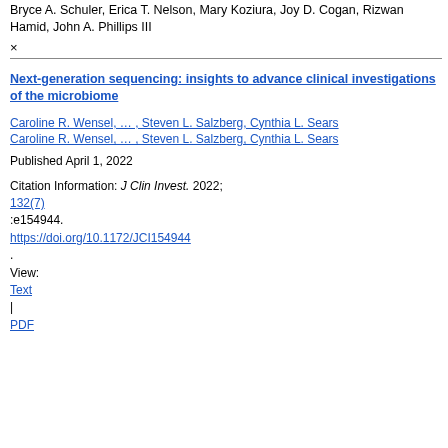Bryce A. Schuler, Erica T. Nelson, Mary Koziura, Joy D. Cogan, Rizwan Hamid, John A. Phillips III
×
Next-generation sequencing: insights to advance clinical investigations of the microbiome
Caroline R. Wensel, … , Steven L. Salzberg, Cynthia L. Sears
Caroline R. Wensel, … , Steven L. Salzberg, Cynthia L. Sears
Published April 1, 2022
Citation Information: J Clin Invest. 2022; 132(7):e154944. https://doi.org/10.1172/JCI154944 .
View:
Text
|
PDF